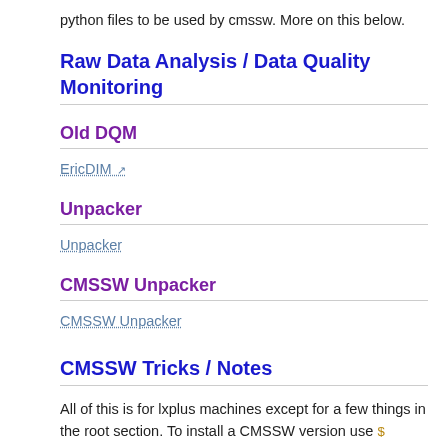python files to be used by cmssw. More on this below.
Raw Data Analysis / Data Quality Monitoring
Old DQM
EricDIM ↗
Unpacker
Unpacker
CMSSW Unpacker
CMSSW Unpacker
CMSSW Tricks / Notes
All of this is for lxplus machines except for a few things in the root section. To install a CMSSW version use $ cmsrel CMSSW_#_#_#. Change to the CMSSW # # #/src direction and